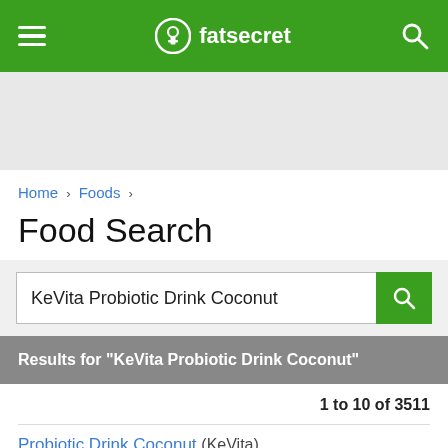fatsecret
[Figure (other): Advertisement / banner placeholder area]
Home › Foods ›
Food Search
KeVita Probiotic Drink Coconut [search input]
Results for "KeVita Probiotic Drink Coconut"
1 to 10 of 3511
Probiotic Drink Coconut (KeVita)
Per 1 serving - Calories: 5kcal | Fat: 0.00g | Carbs: 1.00g | Protein: 0.00g
Similar